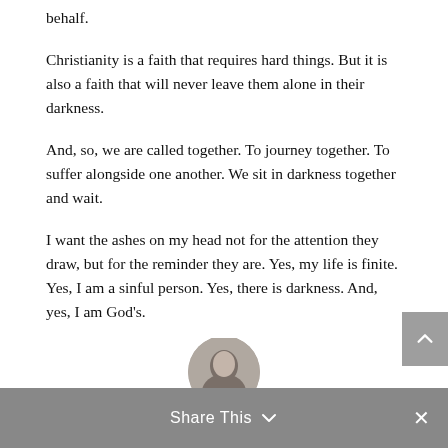behalf.
Christianity is a faith that requires hard things. But it is also a faith that will never leave them alone in their darkness.
And, so, we are called together. To journey together. To suffer alongside one another. We sit in darkness together and wait.
I want the ashes on my head not for the attention they draw, but for the reminder they are. Yes, my life is finite. Yes, I am a sinful person. Yes, there is darkness. And, yes, I am God's.
[Figure (photo): Circular portrait photo of a person, partially visible at the bottom of the page]
Share This ∨  ×